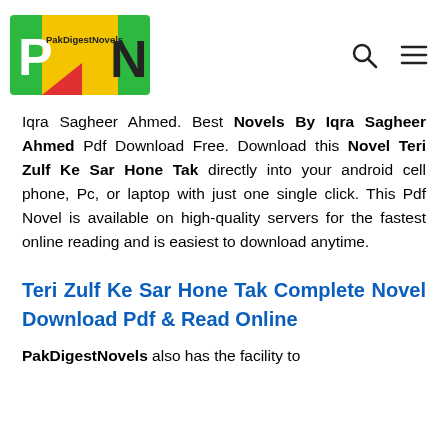PakDigestNovels logo with search and menu icons
Iqra Sagheer Ahmed. Best Novels By Iqra Sagheer Ahmed Pdf Download Free. Download this Novel Teri Zulf Ke Sar Hone Tak directly into your android cell phone, Pc, or laptop with just one single click. This Pdf Novel is available on high-quality servers for the fastest online reading and is easiest to download anytime.
Teri Zulf Ke Sar Hone Tak Complete Novel Download Pdf & Read Online
PakDigestNovels also has the facility to